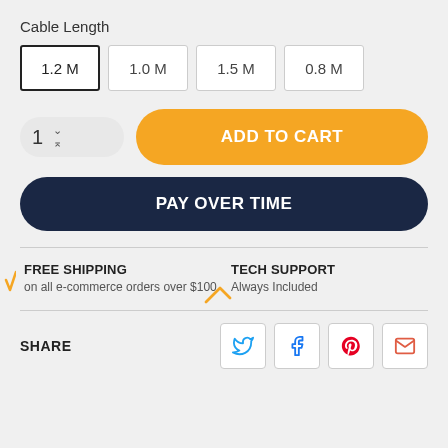Cable Length
1.2 M (selected)
1.0 M
1.5 M
0.8 M
[Figure (infographic): Quantity selector showing 1 with up/down arrows, ADD TO CART orange button, PAY OVER TIME dark navy button]
FREE SHIPPING
on all e-commerce orders over $100
TECH SUPPORT
Always Included
SHARE
[Figure (infographic): Social share icons: Twitter (blue bird), Facebook (blue f), Pinterest (red P), Email (red envelope)]